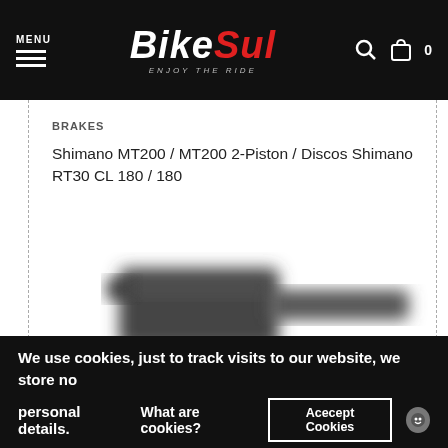MENU | BIKESUL ENJOY THE RIDE | Search | Cart 0
BRAKES
Shimano MT200 / MT200 2-Piston / Discos Shimano RT30 CL 180 / 180
[Figure (photo): Blurred product photo of a bicycle brake component (Shimano MT200), dark colored hardware piece against white background]
We use cookies, just to track visits to our website, we store no personal details. What are cookies? Acecept Cookies